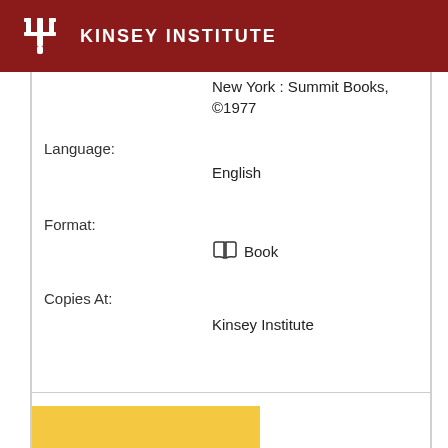KINSEY INSTITUTE
New York : Summit Books, ©1977
Language:
English
Format:
Book
Copies At:
Kinsey Institute
[Figure (illustration): Book cover with yellow/gold background showing partial title text 'Great unknowns : an exquisite']